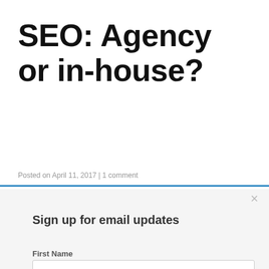SEO: Agency or in-house?
Posted on April 11, 2017 | 1 comment
Sign up for email updates
First Name
Last Name
Email